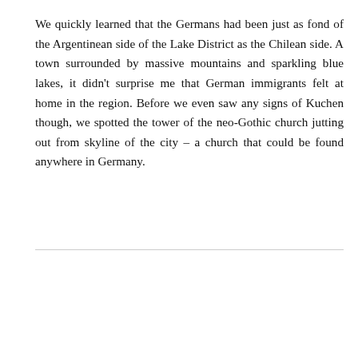We quickly learned that the Germans had been just as fond of the Argentinean side of the Lake District as the Chilean side. A town surrounded by massive mountains and sparkling blue lakes, it didn't surprise me that German immigrants felt at home in the region. Before we even saw any signs of Kuchen though, we spotted the tower of the neo-Gothic church jutting out from skyline of the city – a church that could be found anywhere in Germany.